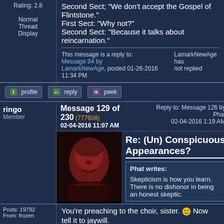Rating: 2.8
Normal Thread Display
Second Sect; "We don't accept the Gospel of Flintstone."
First Sect: "Why not?"
Second Sect: "Because it talks about reincarnation."
This message is a reply to: Message 84 by LamarkNewAge, posted 01-26-2016 11:34 PM | LamarkNewAge has not replied
profile  reply  peek
ringo
Member
Message 129 of 230 (777608)
02-04-2016 11:07 AM
Reply to: Message 126 by Phat
02-04-2016 1:19 AM
Re: (Un) Conspicuous Appearances?
Phat writes:
Skepticism is how you learn. There is no dishonor in being an honest skeptic.
Posts: 19792
From: frozen
You're preaching to the choir, sister. 🙂 Now tell it to jaywill.